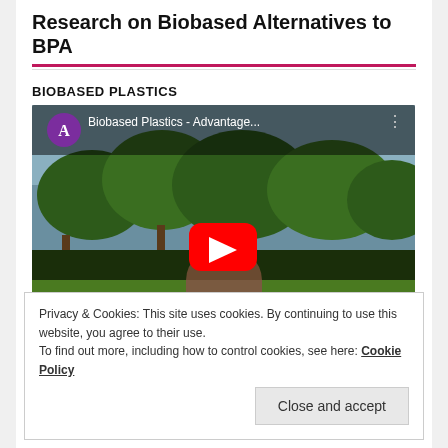Research on Biobased Alternatives to BPA
BIOBASED PLASTICS
[Figure (screenshot): YouTube video thumbnail showing 'Biobased Plastics - Advantage...' with a purple channel avatar letter A, outdoor background with trees and grass, and a red YouTube play button in the center.]
Privacy & Cookies: This site uses cookies. By continuing to use this website, you agree to their use.
To find out more, including how to control cookies, see here: Cookie Policy
Close and accept
BIOPLASTICS IN COSMETICS
[Figure (photo): Row of cosmetics product images partially visible at the bottom of the page.]